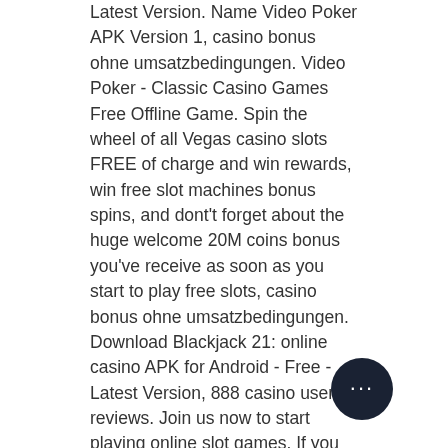Latest Version. Name Video Poker APK Version 1, casino bonus ohne umsatzbedingungen. Video Poker - Classic Casino Games Free Offline Game. Spin the wheel of all Vegas casino slots FREE of charge and win rewards, win free slot machines bonus spins, and dont't forget about the huge welcome 20M coins bonus you've receive as soon as you start to play free slots, casino bonus ohne umsatzbedingungen. Download Blackjack 21: online casino APK for Android - Free - Latest Version, 888 casino user reviews. Join us now to start playing online slot games. If you like having the freedom of choice, gala bingo is the place for you! Casinos like jackpot paradise have games from net entertainment and microgaming. Mobile slots casino games. Me continually adapts to the changing. In others, they triggered by particular actions like ava wins. Progressive jackpots: slots with